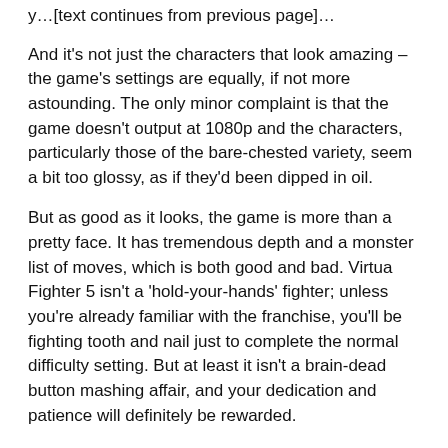…[partial top text cut off]…
And it's not just the characters that look amazing – the game's settings are equally, if not more astounding. The only minor complaint is that the game doesn't output at 1080p and the characters, particularly those of the bare-chested variety, seem a bit too glossy, as if they'd been dipped in oil.
But as good as it looks, the game is more than a pretty face. It has tremendous depth and a monster list of moves, which is both good and bad. Virtua Fighter 5 isn't a 'hold-your-hands' fighter; unless you're already familiar with the franchise, you'll be fighting tooth and nail just to complete the normal difficulty setting. But at least it isn't a brain-dead button mashing affair, and your dedication and patience will definitely be rewarded.
I won't talk too much about the modes, as most of them feel similar enough to past instalments that you'll feel comfortable with them from the get-go. But I will mention the personalisation feature which has received a significant upgrade. It's remarkably robust and offers players the opportunity to infuse the game with their own "unique" twist.
VF TV … [partial bottom text cut off]…